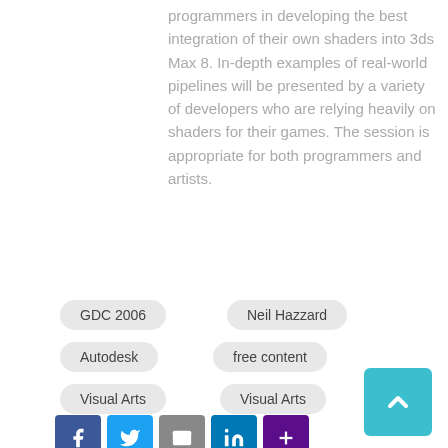programmers in developing the best integration of their own shaders into 3ds Max 8. In-depth examples of real-world pipelines will be presented by a variety of developers who are relying heavily on shaders for their games. The session is appropriate for both programmers and artists.
GDC 2006
Neil Hazzard
Autodesk
free content
Visual Arts
Visual Arts